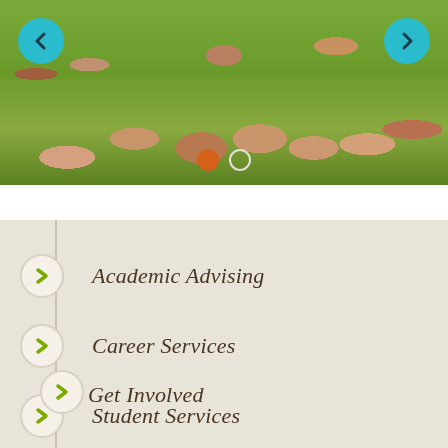[Figure (photo): Group photo of students at an outdoor archaeological or historic site with green grass in the background. Navigation arrows (left and right) and carousel indicator dots are overlaid on the image.]
Academic Advising
Career Services
Student Services
Get Involved